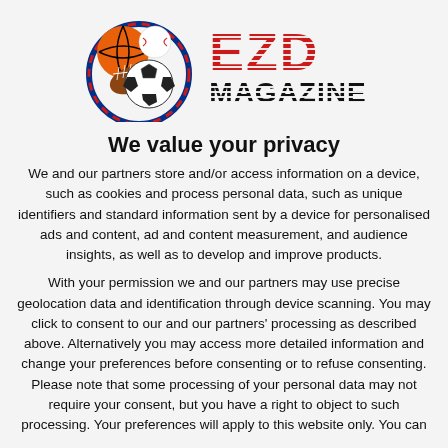[Figure (logo): EZD Magazine logo with sports balls (basketball, baseball, football, soccer ball) in a circular arrangement, with 'EZD' in red striped text and 'MAGAZINE' in black striped text]
We value your privacy
We and our partners store and/or access information on a device, such as cookies and process personal data, such as unique identifiers and standard information sent by a device for personalised ads and content, ad and content measurement, and audience insights, as well as to develop and improve products.
With your permission we and our partners may use precise geolocation data and identification through device scanning. You may click to consent to our and our partners' processing as described above. Alternatively you may access more detailed information and change your preferences before consenting or to refuse consenting. Please note that some processing of your personal data may not require your consent, but you have a right to object to such processing. Your preferences will apply to this website only. You can